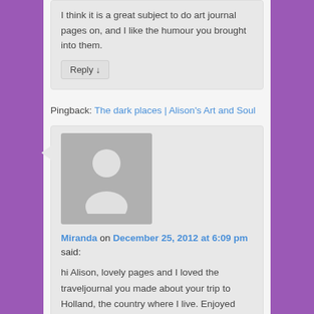I think it is a great subject to do art journal pages on, and I like the humour you brought into them.
Reply ↓
Pingback: The dark places | Alison's Art and Soul
Miranda on December 25, 2012 at 6:09 pm said:
hi Alison, lovely pages and I loved the traveljournal you made about your trip to Holland, the country where I live. Enjoyed reading it….
have a wonderful Christmas and a very artsy 2013

hugs
Miranda